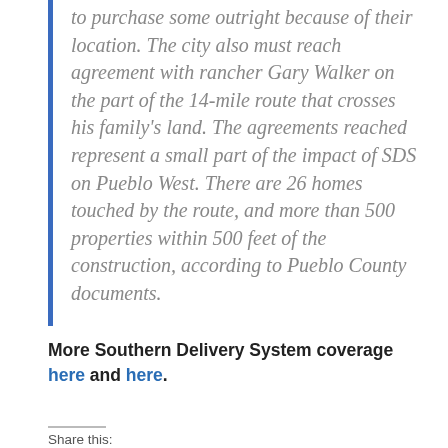to purchase some outright because of their location. The city also must reach agreement with rancher Gary Walker on the part of the 14-mile route that crosses his family's land. The agreements reached represent a small part of the impact of SDS on Pueblo West. There are 26 homes touched by the route, and more than 500 properties within 500 feet of the construction, according to Pueblo County documents.
More Southern Delivery System coverage here and here.
Share this: